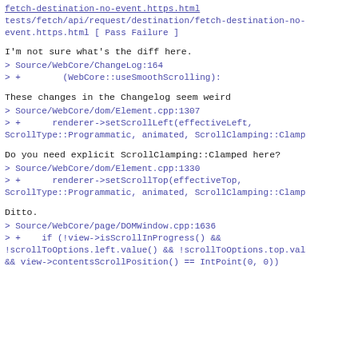fetch-destination-no-event.https.html [ Pass Failure ]
I'm not sure what's the diff here.
> Source/WebCore/ChangeLog:164
> +        (WebCore::useSmoothScrolling):
These changes in the Changelog seem weird
> Source/WebCore/dom/Element.cpp:1307
> +      renderer->setScrollLeft(effectiveLeft, ScrollType::Programmatic, animated, ScrollClamping::Clamp
Do you need explicit ScrollClamping::Clamped here?
> Source/WebCore/dom/Element.cpp:1330
> +      renderer->setScrollTop(effectiveTop, ScrollType::Programmatic, animated, ScrollClamping::Clamp
Ditto.
> Source/WebCore/page/DOMWindow.cpp:1636
> +    if (!view->isScrollInProgress() &&
!scrollToOptions.left.value() && !scrollToOptions.top.val
&& view->contentsScrollPosition() == IntPoint(0, 0))